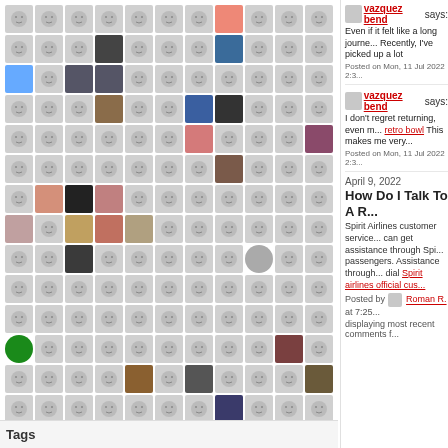[Figure (other): Grid of user avatar thumbnails, mostly blank/grey placeholder smiley faces with some real user photos scattered throughout]
view all
Tags
vazquez bend says: Even if it felt like a long journey... Recently, I've picked up a lot
Posted on Mon, 11 Jul 2022 2:3...
vazquez bend says: I don't regret returning, even m... retro bowl This makes me very...
Posted on Mon, 11 Jul 2022 2:3...
April 9, 2022
How Do I Talk To A R...
Spirit Airlines customer service... can get assistance through Spi... passengers. Assistance through... dial Spirit airlines official cus...
Posted by Roman R. at 7:25
displaying most recent comments f...